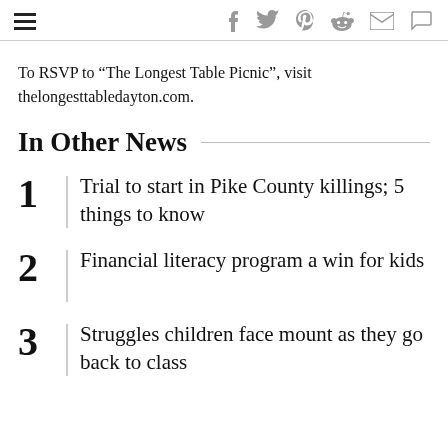hamburger menu and social icons (f, twitter, pinterest, reddit, mail, comment)
To RSVP to “The Longest Table Picnic”, visit thelongesttabledayton.com.
In Other News
1 Trial to start in Pike County killings; 5 things to know
2 Financial literacy program a win for kids
3 Struggles children face mount as they go back to class